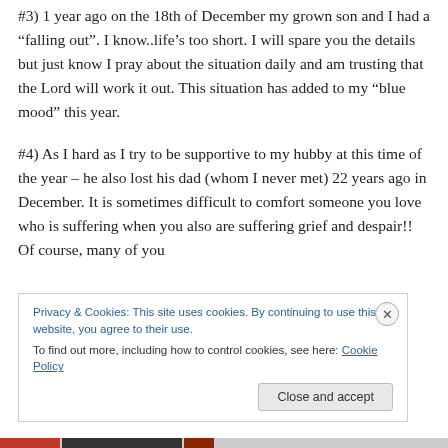#3) 1 year ago on the 18th of December my grown son and I had a “falling out”. I know..life’s too short. I will spare you the details but just know I pray about the situation daily and am trusting that the Lord will work it out. This situation has added to my “blue mood” this year.
#4) As I hard as I try to be supportive to my hubby at this time of the year – he also lost his dad (whom I never met) 22 years ago in December. It is sometimes difficult to comfort someone you love who is suffering when you also are suffering grief and despair!! Of course, many of you
Privacy & Cookies: This site uses cookies. By continuing to use this website, you agree to their use.
To find out more, including how to control cookies, see here: Cookie Policy